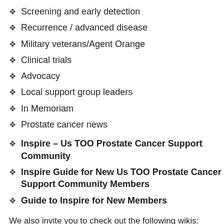Screening and early detection
Recurrence / advanced disease
Military veterans/Agent Orange
Clinical trials
Advocacy
Local support group leaders
In Memoriam
Prostate cancer news
Inspire – Us TOO Prostate Cancer Support Community
Inspire Guide for New Us TOO Prostate Cancer Support Community Members
Guide to Inspire for New Members
We also invite you to check out the following wikis:
Prostate Cancer & Intimacy